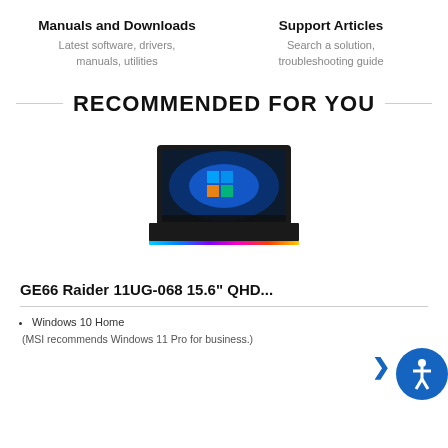Manuals and Downloads
Latest software, drivers, manuals, utilities
Support Articles
Search a solution, troubleshooting guide
RECOMMENDED FOR YOU
[Figure (photo): MSI GE66 Raider gaming laptop with RGB lighting strip along the front edge, displaying Windows 11 on screen]
GE66 Raider 11UG-068 15.6" QHD...
Windows 10 Home
(MSI recommends Windows 11 Pro for business.)